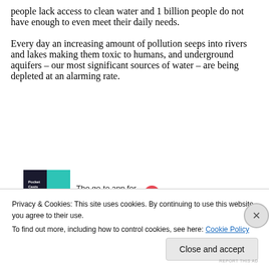people lack access to clean water and 1 billion people do not have enough to even meet their daily needs.
Every day an increasing amount of pollution seeps into rivers and lakes making them toxic to humans, and underground aquifers – our most significant sources of water – are being depleted at an alarming rate.
[Figure (other): Advertisement for Pocket Casts podcast app showing colorful app icon and tagline 'The go-to app for podcast lovers.']
If you want to ask questions, you can only do so by...
Privacy & Cookies: This site uses cookies. By continuing to use this website, you agree to their use.
To find out more, including how to control cookies, see here: Cookie Policy